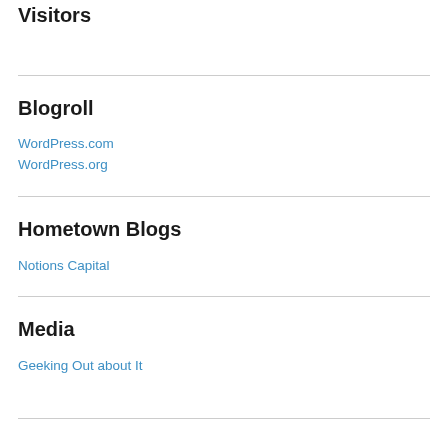Visitors
Blogroll
WordPress.com
WordPress.org
Hometown Blogs
Notions Capital
Media
Geeking Out about It